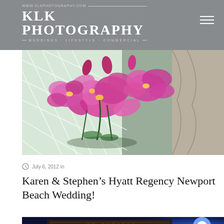KLK PHOTOGRAPHY · WEDDINGS · LIFESTYLE · COMMERCIAL · www.klkphotography.com
[Figure (photo): Close-up photo of vibrant pink/magenta orchid flowers against a white lattice and draped fabric background]
July 6, 2012 in
Karen & Stephen's Hyatt Regency Newport Beach Wedding!
[Figure (photo): Dark blue-toned photo of a couple (man and woman) sitting together in an atmospheric bar/lounge setting with ornate carved wall backdrop and blue spotlight]